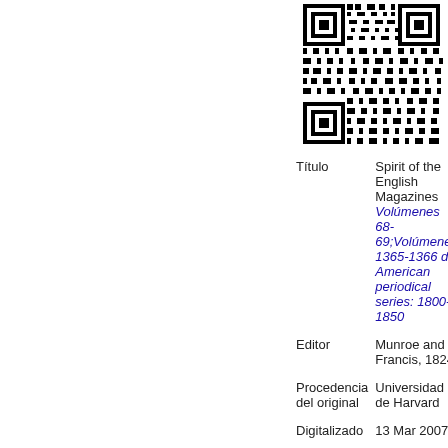[Figure (other): QR code in black and white]
| Título | Spirit of the English Magazines Volúmenes 68-69;Volúmenes 1365-1366 de American periodical series: 1800-1850 |
| Editor | Munroe and Francis, 1824 |
| Procedencia del original | Universidad de Harvard |
| Digitalizado | 13 Mar 2007 |